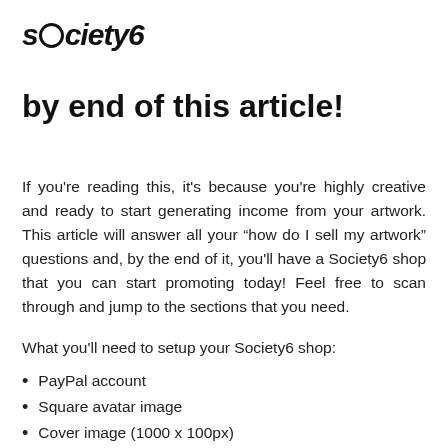society6
by end of this article!
If you're reading this, it's because you're highly creative and ready to start generating income from your artwork. This article will answer all your “how do I sell my artwork” questions and, by the end of it, you'll have a Society6 shop that you can start promoting today! Feel free to scan through and jump to the sections that you need.
What you’ll need to setup your Society6 shop:
PayPal account
Square avatar image
Cover image (1000 x 100px)
Artist Bio (about 50 words long)